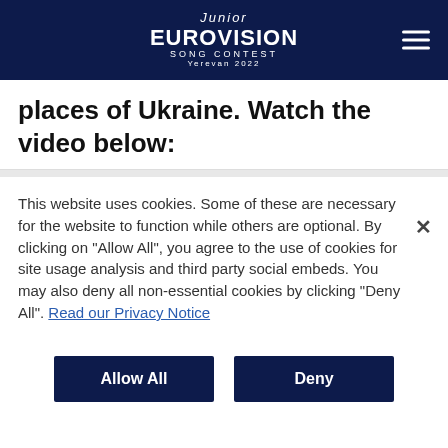[Figure (logo): Junior Eurovision Song Contest Yerevan 2022 logo with hamburger menu icon on dark navy background]
places of Ukraine. Watch the video below:
This website uses cookies. Some of these are necessary for the website to function while others are optional. By clicking on "Allow All", you agree to the use of cookies for site usage analysis and third party social embeds. You may also deny all non-essential cookies by clicking "Deny All". Read our Privacy Notice
Allow All
Deny